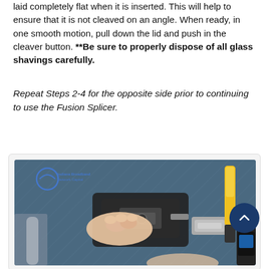laid completely flat when it is inserted. This will help to ensure that it is not cleaved on an angle. When ready, in one smooth motion, pull down the lid and push in the cleaver button. **Be sure to properly dispose of all glass shavings carefully.
Repeat Steps 2-4 for the opposite side prior to continuing to use the Fusion Splicer.
[Figure (photo): Photo of a person using a fiber optic cleaver tool on a blue cutting mat, with a yellow-handled tool visible in the background. A watermark logo for 'Indiana Broadband Network Capital' is visible in the upper left.]
Whenever you use a cleaver – be sure to properly clean out the tray for safety reasons.